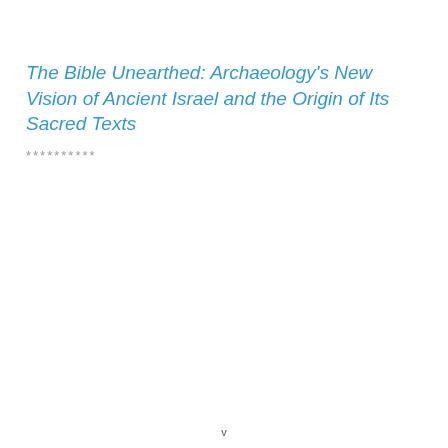The Bible Unearthed: Archaeology's New Vision of Ancient Israel and the Origin of Its Sacred Texts
**********
v